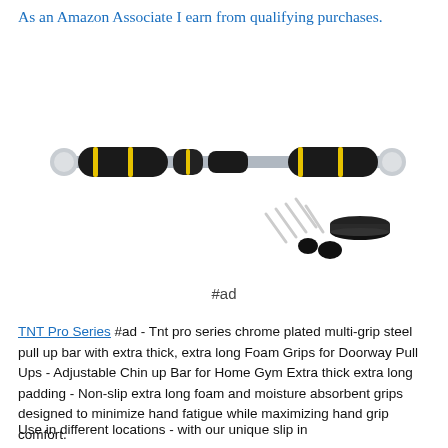As an Amazon Associate I earn from qualifying purchases.
[Figure (photo): TNT Pro Series chrome plated multi-grip steel pull up bar with foam grips, shown with mounting screws and rubber caps accessories.]
#ad
TNT Pro Series #ad - Tnt pro series chrome plated multi-grip steel pull up bar with extra thick, extra long Foam Grips for Doorway Pull Ups - Adjustable Chin up Bar for Home Gym Extra thick extra long padding - Non-slip extra long foam and moisture absorbent grips designed to minimize hand fatigue while maximizing hand grip comfort.
Use in different locations - with our unique slip in